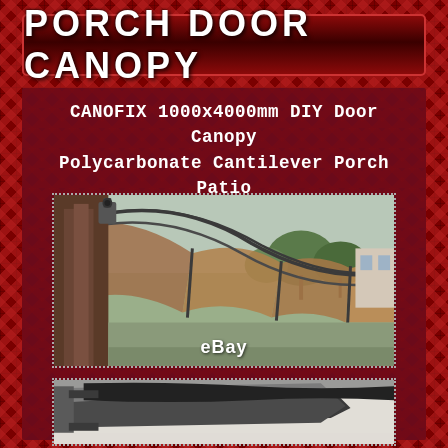PORCH DOOR CANOPY
CANOFIX 1000x4000mm DIY Door Canopy Polycarbonate Cantilever Porch Patio Walkway
[Figure (photo): Close-up photograph of a polycarbonate cantilever porch canopy with brown/amber tinted panels and metal frame structure, eBay watermark visible, with trees and outdoor scene in background]
[Figure (photo): Partial photograph of another canopy installation showing dark metal brackets mounted on a white wall]